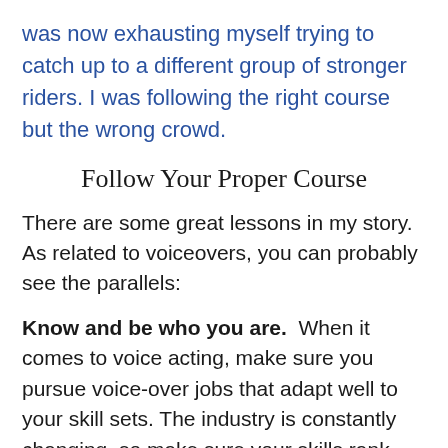was now exhausting myself trying to catch up to a different group of stronger riders. I was following the right course but the wrong crowd.
Follow Your Proper Course
There are some great lessons in my story. As related to voiceovers, you can probably see the parallels:
Know and be who you are.  When it comes to voice acting, make sure you pursue voice-over jobs that adapt well to your skill sets. The industry is constantly changing, so make sure your skills rank you at the top of your genre.